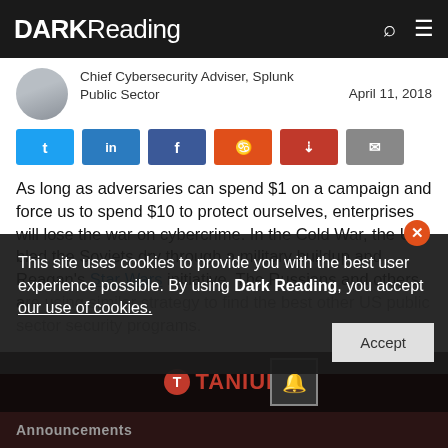DARK Reading
Chief Cybersecurity Adviser, Splunk Public Sector
April 11, 2018
[Figure (infographic): Social sharing buttons: Twitter, LinkedIn, Facebook, Reddit, PDF, Email]
As long as adversaries can spend $1 on a campaign and force us to spend $10 to protect ourselves, enterprises will lose the war on cybercrime. In the Cold War, the US bled the Soviets dry through a military buildup and Reagan's Star Wars initiative. The Russians and others are using similar strategy to find the best other US public sector security programs.
This site uses cookies to provide you with the best user experience possible. By using Dark Reading, you accept our use of cookies.
[Figure (logo): Tanium logo advertisement banner]
Announcements